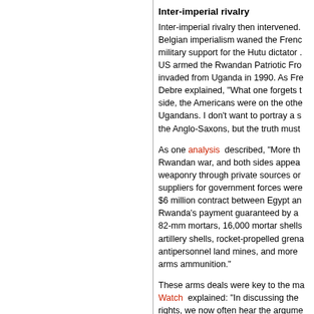Inter-imperial rivalry
Inter-imperial rivalry then intervened. As Belgian imperialism waned the French provided military support for the Hutu dictator ... US armed the Rwandan Patriotic Front ... invaded from Uganda in 1990. As French ... Debre explained, "What one forgets to say ... side, the Americans were on the other ... Ugandans. I don't want to portray a situation ... the Anglo-Saxons, but the truth must ...
As one analysis described, "More th... Rwandan war, and both sides appea... weaponry through private sources or... suppliers for government forces were... $6 million contract between Egypt an... Rwanda's payment guaranteed by a ... 82-mm mortars, 16,000 mortar shells... artillery shells, rocket-propelled grena... antipersonnel land mines, and more ... arms ammunition."
These arms deals were key to the ma... Watch explained: "In discussing the... rights, we now often hear the argume... with machetes, what is the point of re... argument has been a convenient too... deflect attention from their own recno...